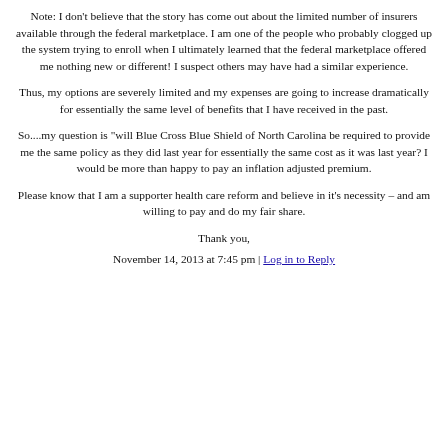Note: I don't believe that the story has come out about the limited number of insurers available through the federal marketplace. I am one of the people who probably clogged up the system trying to enroll when I ultimately learned that the federal marketplace offered me nothing new or different! I suspect others may have had a similar experience.
Thus, my options are severely limited and my expenses are going to increase dramatically for essentially the same level of benefits that I have received in the past.
So....my question is "will Blue Cross Blue Shield of North Carolina be required to provide me the same policy as they did last year for essentially the same cost as it was last year? I would be more than happy to pay an inflation adjusted premium.
Please know that I am a supporter health care reform and believe in it's necessity – and am willing to pay and do my fair share.
Thank you,
November 14, 2013 at 7:45 pm | Log in to Reply